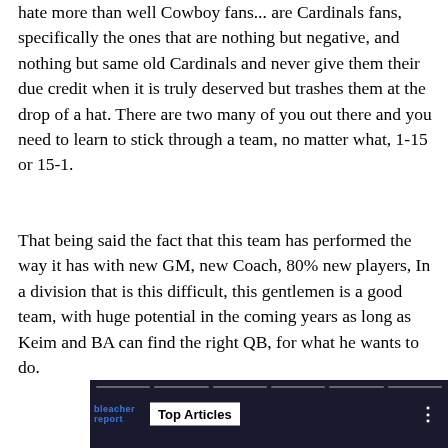hate more than well Cowboy fans... are Cardinals fans, specifically the ones that are nothing but negative, and nothing but same old Cardinals and never give them their due credit when it is truly deserved but trashes them at the drop of a hat. There are two many of you out there and you need to learn to stick through a team, no matter what, 1-15 or 15-1.
That being said the fact that this team has performed the way it has with new GM, new Coach, 80% new players, In a division that is this difficult, this gentlemen is a good team, with huge potential in the coming years as long as Keim and BA can find the right QB, for what he wants to do.
[Figure (screenshot): Dark background media player or article thumbnail showing 'Top Articles' badge with Bleacher Report branding and navigation tabs at top]